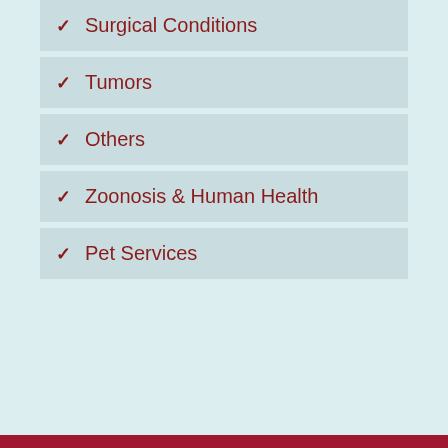Surgical Conditions
Tumors
Others
Zoonosis & Human Health
Pet Services
© 2022 Centre Animal Hospital.
Powered by LifeLearn Veterinary Websites